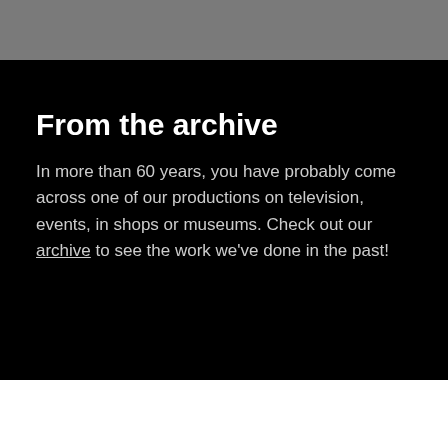From the archive
In more than 60 years, you have probably come across one of our productions on television, events, in shops or museums. Check out our archive to see the work we've done in the past!